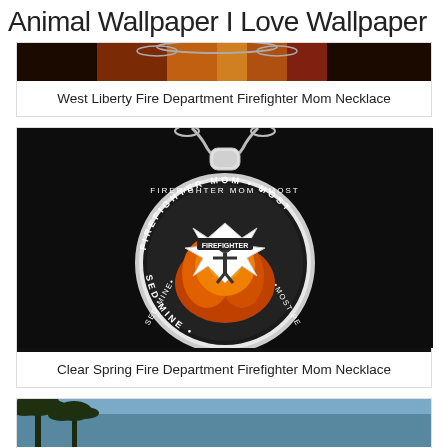Animal Wallpaper I Love Wallpaper
[Figure (photo): Partial view of a firefighter-themed necklace or image with dark and orange tones]
West Liberty Fire Department Firefighter Mom Necklace
[Figure (photo): Circular silver necklace pendant on black background showing firefighter maltese cross emblem with fire imagery and text reading FIREFIGHTER MOM MOST and SED MINE around the edge]
Clear Spring Fire Department Firefighter Mom Necklace
[Figure (photo): Partial view of palm trees against a blue sky, bottom portion of image visible]